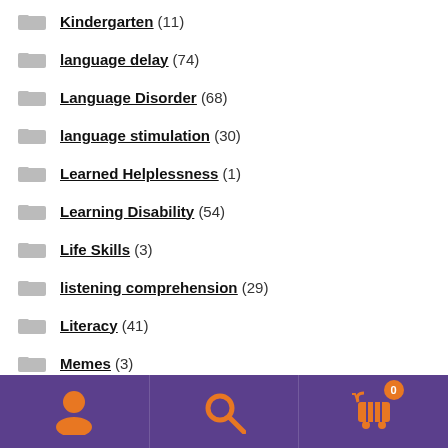Kindergarten (11)
language delay (74)
Language Disorder (68)
language stimulation (30)
Learned Helplessness (1)
Learning Disability (54)
Life Skills (3)
listening comprehension (29)
Literacy (41)
Memes (3)
Memory (5)
Metacognition (4)
User | Search | Cart (0)